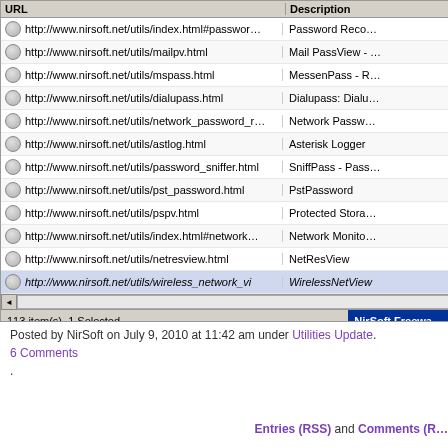[Figure (screenshot): A Windows application list view showing URLs from nirsoft.net with descriptions. Columns: URL and Description. Rows include: index.html#passwor..., mailpv.html, mspass.html, dialupass.html, network_password_r..., astlog.html, password_sniffer.html, pst_password.html, pspv.html, index.html#network..., netresview.html, wireless_network_vi... Status bar shows '113 item(s), 1 Selected' and 'NirSoft Freewa...' button. Title bar shows 'URLStringGrabber'.]
Posted by NirSoft on July 9, 2010 at 11:42 am under Utilities Update. 6 Comments.
Entries (RSS) and Comments (R...